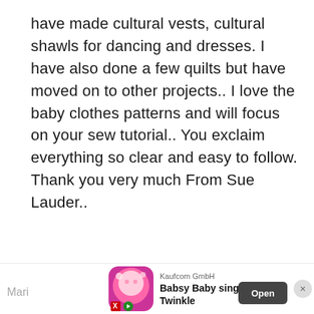have made cultural vests, cultural shawls for dancing and dresses. I have also done a few quilts but have moved on to other projects.. I love the baby clothes patterns and will focus on your sew tutorial.. You exclaim everything so clear and easy to follow. Thank you very much From Sue Lauder..
REPLY
Mari
[Figure (infographic): Advertisement banner at bottom of page. Shows Kaufcom GmbH ad for 'Babsy Baby singing Twinkle' app with baby cartoon image, Open button, and close X button.]